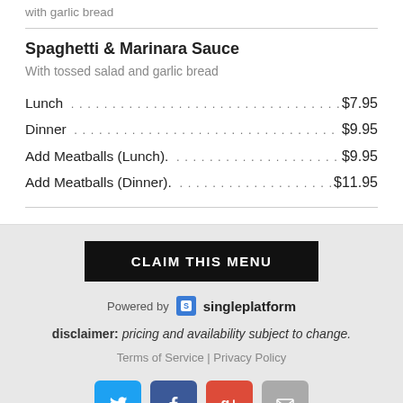with garlic bread
Spaghetti & Marinara Sauce
With tossed salad and garlic bread
Lunch . . . . . . . . . . . . . . . . . . . . . . . . . . . . . . . . . . . . . . . . . . . . . $7.95
Dinner . . . . . . . . . . . . . . . . . . . . . . . . . . . . . . . . . . . . . . . . . . . $9.95
Add Meatballs (Lunch). . . . . . . . . . . . . . . . . . . . . . . . . . . . . . . . . $9.95
Add Meatballs (Dinner). . . . . . . . . . . . . . . . . . . . . . . . . . . . . . . $11.95
CLAIM THIS MENU
Powered by singleplatform
disclaimer: pricing and availability subject to change.
Terms of Service | Privacy Policy